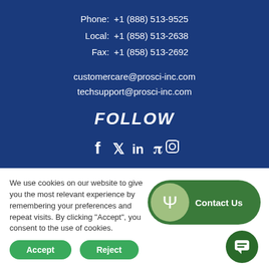Phone: +1 (888) 513-9525
Local: +1 (858) 513-2638
Fax: +1 (858) 513-2692
customercare@prosci-inc.com
techsupport@prosci-inc.com
FOLLOW
[Figure (infographic): Social media icons: Facebook, Twitter, LinkedIn, Pinterest, Instagram]
We use cookies on our website to give you the most relevant experience by remembering your preferences and repeat visits. By clicking “Accept”, you consent to the use of cookies.
[Figure (infographic): Green Contact Us button with Psi symbol circle icon]
[Figure (infographic): Green chat bubble button]
Accept
Reject